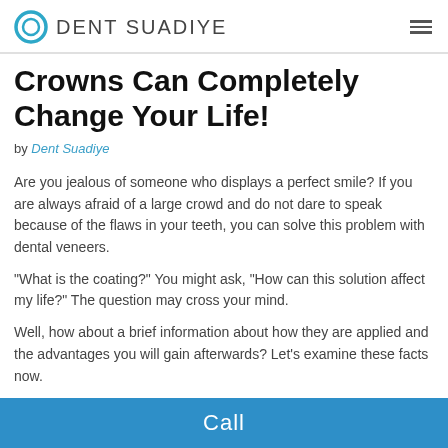Dent Suadiye
Crowns Can Completely Change Your Life!
by Dent Suadiye
Are you jealous of someone who displays a perfect smile? If you are always afraid of a large crowd and do not dare to speak because of the flaws in your teeth, you can solve this problem with dental veneers.
“What is the coating?” You might ask, “How can this solution affect my life?” The question may cross your mind.
Well, how about a brief information about how they are applied and the advantages you will gain afterwards? Let’s examine these facts now.
WHAT ARE DENTAL COVERINGS?
Call